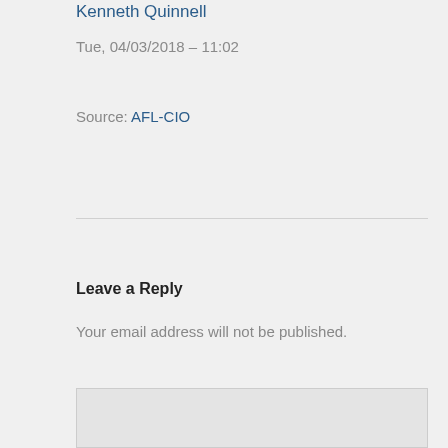Kenneth Quinnell
Tue, 04/03/2018 – 11:02
Source: AFL-CIO
Leave a Reply
Your email address will not be published.